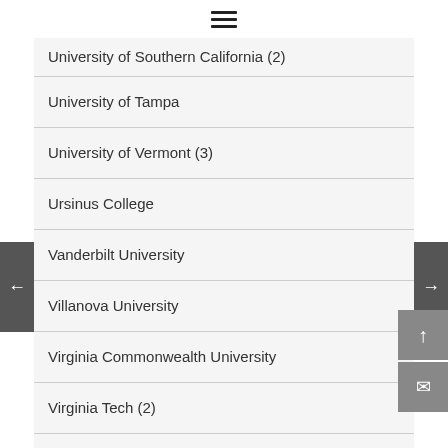≡ (hamburger menu)
University of Southern California (2)
University of Tampa
University of Vermont (3)
Ursinus College
Vanderbilt University
Villanova University
Virginia Commonwealth University
Virginia Tech (2)
Wagner College
William & Mary (2)